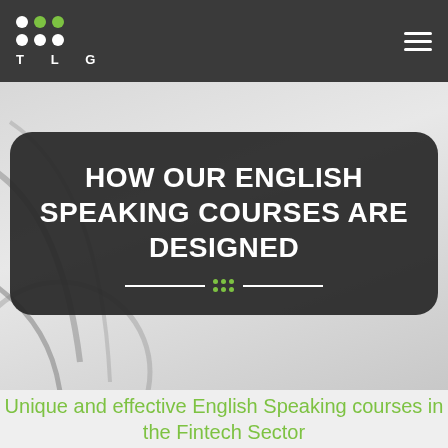TLG
HOW OUR ENGLISH SPEAKING COURSES ARE DESIGNED
Unique and effective English Speaking courses in the Fintech Sector